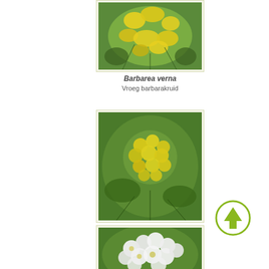[Figure (photo): Close-up photo of yellow Barbarea verna flowers with green background]
Barbarea verna
Vroeg barbarakruid
[Figure (photo): Close-up photo of yellow Barbarea vulgaris flower cluster with green background]
Barbarea vulgaris
Gewoon barbarakruid
[Figure (photo): Close-up photo of white flowers with green background (third plant entry)]
[Figure (illustration): Green circular up-arrow navigation button]